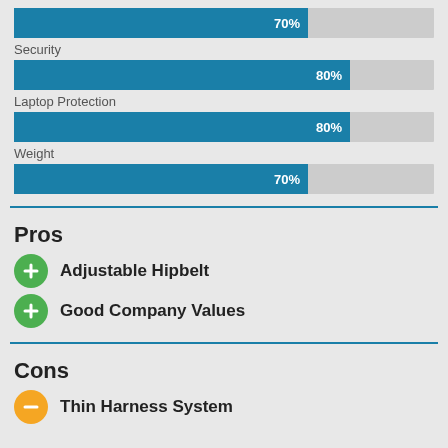[Figure (bar-chart): Rating bars]
Pros
Adjustable Hipbelt
Good Company Values
Cons
Thin Harness System
Weight: 3.5lbs (1.6kg)